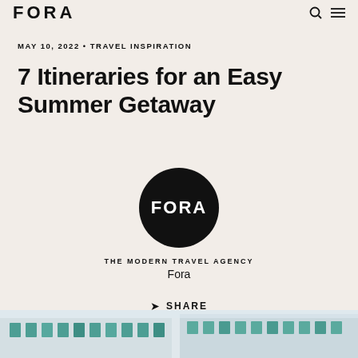FORA
MAY 10, 2022 • TRAVEL INSPIRATION
7 Itineraries for an Easy Summer Getaway
[Figure (logo): Black circle with white text 'FORA' inside, representing the Fora travel agency logo]
THE MODERN TRAVEL AGENCY
Fora
➤ SHARE
[Figure (photo): Partial view of a building exterior with teal/green windows, suggesting a colorful hotel or resort facade]